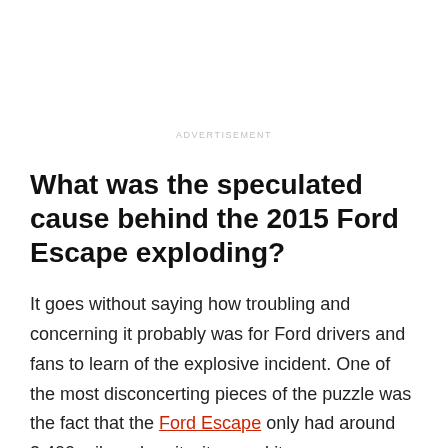ADVERTISEMENT
What was the speculated cause behind the 2015 Ford Escape exploding?
It goes without saying how troubling and concerning it probably was for Ford drivers and fans to learn of the explosive incident. One of the most disconcerting pieces of the puzzle was the fact that the Ford Escape only had around 3,400 miles when it witnessed its own